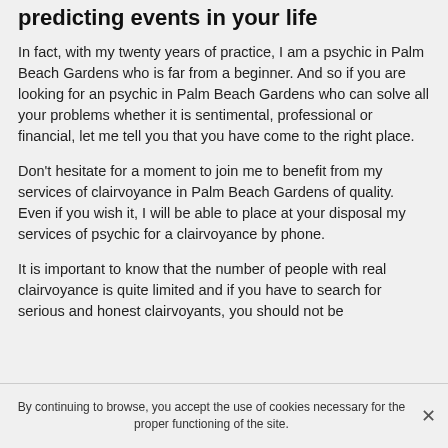predicting events in your life
In fact, with my twenty years of practice, I am a psychic in Palm Beach Gardens who is far from a beginner. And so if you are looking for an psychic in Palm Beach Gardens who can solve all your problems whether it is sentimental, professional or financial, let me tell you that you have come to the right place.
Don't hesitate for a moment to join me to benefit from my services of clairvoyance in Palm Beach Gardens of quality. Even if you wish it, I will be able to place at your disposal my services of psychic for a clairvoyance by phone.
It is important to know that the number of people with real clairvoyance is quite limited and if you have to search for serious and honest clairvoyants, you should not be
By continuing to browse, you accept the use of cookies necessary for the proper functioning of the site.